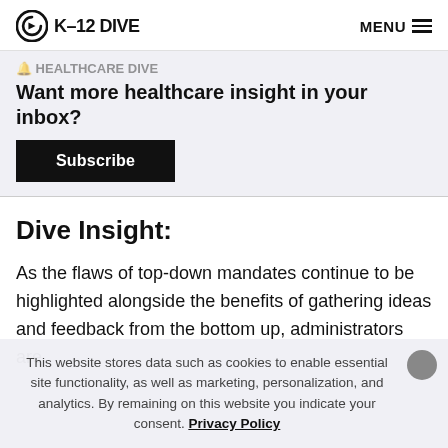K-12 DIVE   MENU
Want more healthcare insight in your inbox?
Subscribe
Dive Insight:
As the flaws of top-down mandates continue to be highlighted alongside the benefits of gathering ideas and feedback from the bottom up, administrators are
This website stores data such as cookies to enable essential site functionality, as well as marketing, personalization, and analytics. By remaining on this website you indicate your consent. Privacy Policy